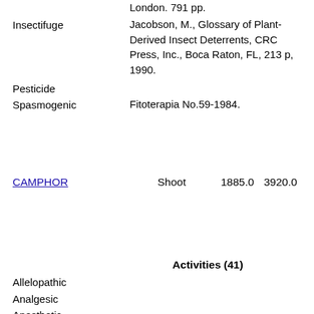London. 791 pp.
Jacobson, M., Glossary of Plant-Derived Insect Deterrents, CRC Press, Inc., Boca Raton, FL, 213 p, 1990.
Insectifuge
Pesticide
Spasmogenic
Fitoterapia No.59-1984.
CAMPHOR   Shoot   1885.0   3920.0
Activities (41)
Allelopathic
Analgesic
Anesthetic
Antiacne
Nigg, H.N. and Seigler, D.S., eds. 1992. Phytochemical Resources for Medicine and Agriculture. Plenum Press, New...